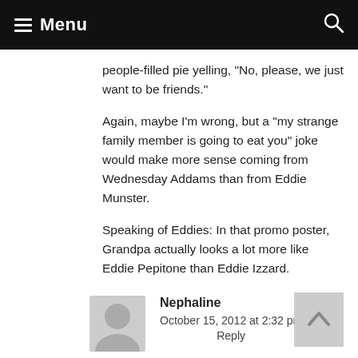Menu
people-filled pie yelling, "No, please, we just want to be friends."
Again, maybe I'm wrong, but a "my strange family member is going to eat you" joke would make more sense coming from Wednesday Addams than from Eddie Munster.
Speaking of Eddies: In that promo poster, Grandpa actually looks a lot more like Eddie Pepitone than Eddie Izzard.
Nephaline
October 15, 2012 at 2:32 pm
Reply
Yeah, looking at the photos of the